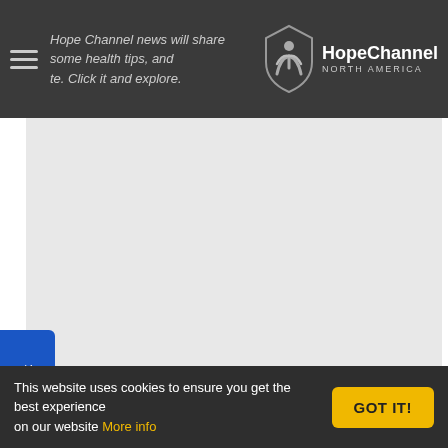Hope Channel news will share some health tips, and [site]. Click it and explore.
[Figure (logo): Hope Channel North America logo — shield/person icon with text 'HopeChannel NORTH AMERICA']
[Figure (other): Large light grey content area, main page body placeholder]
Support
This website uses cookies to ensure you get the best experience on our website More info
GOT IT!